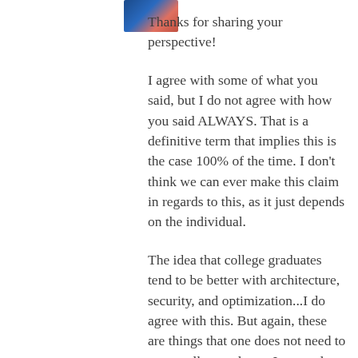[Figure (photo): Partial profile photo of a person, visible in the top-left area of the page]
Thanks for sharing your perspective!
I agree with some of what you said, but I do not agree with how you said ALWAYS. That is a definitive term that implies this is the case 100% of the time. I don't think we can ever make this claim in regards to this, as it just depends on the individual.
The idea that college graduates tend to be better with architecture, security, and optimization...I do agree with this. But again, these are things that one does not need to go to college to learn. In regards